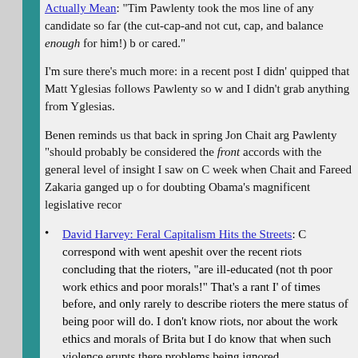Actually Mean: "Tim Pawlenty took the most extreme line of any candidate so far (the cut-cap-and not cut, cap, and balance enough for him!) b or cared."
I'm sure there's much more: in a recent post I didn't quipped that Matt Yglesias follows Pawlenty so we and I didn't grab anything from Yglesias.
Benen reminds us that back in spring Jon Chait arg Pawlenty "should probably be considered the front accords with the general level of insight I saw on C week when Chait and Fareed Zakaria ganged up o for doubting Obama's magnificent legislative recor
David Harvey: Feral Capitalism Hits the Streets: C correspond with went apeshit over the recent riots concluding that the rioters, "are ill-educated (not th poor work ethics and poor morals!" That's a rant I' of times before, and only rarely to describe rioters the mere status of being poor will do. I don't know riots, nor about the work ethics and morals of Brita but I do know that when such violence erupts there problems being ignored.